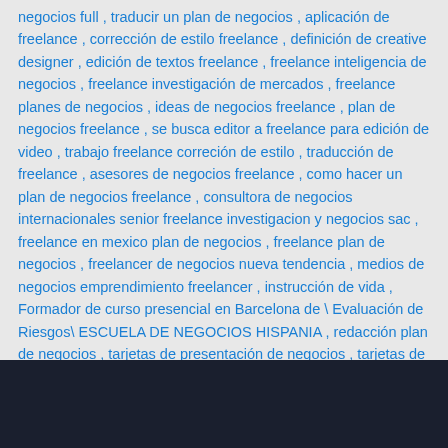negocios full , traducir un plan de negocios , aplicación de freelance , corrección de estilo freelance , definición de creative designer , edición de textos freelance , freelance inteligencia de negocios , freelance investigación de mercados , freelance planes de negocios , ideas de negocios freelance , plan de negocios freelance , se busca editor a freelance para edición de video , trabajo freelance correción de estilo , traducción de freelance , asesores de negocios freelance , como hacer un plan de negocios freelance , consultora de negocios internacionales senior freelance investigacion y negocios sac , freelance en mexico plan de negocios , freelance plan de negocios , freelancer de negocios nueva tendencia , medios de negocios emprendimiento freelancer , instrucción de vida , Formador de curso presencial en Barcelona de \ Evaluación de Riesgos\ ESCUELA DE NEGOCIOS HISPANIA , redacción plan de negocios , tarjetas de presentación de negocios , tarjetas de presentación para negocios gratis
[Figure (other): Dark navy/black footer bar at the bottom of the page]